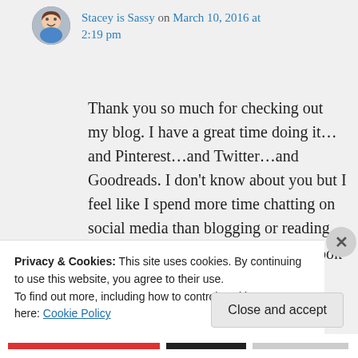[Figure (illustration): Small circular avatar/profile picture of a cartoon-style character]
Stacey is Sassy on March 10, 2016 at 2:19 pm
Thank you so much for checking out my blog. I have a great time doing it…and Pinterest…and Twitter…and Goodreads. I don't know about you but I feel like I spend more time chatting on social media than blogging or reading 😉 I have a few friends who have book blogs. Some of them are a wee bit naughtier than
Privacy & Cookies: This site uses cookies. By continuing to use this website, you agree to their use.
To find out more, including how to control cookies, see here: Cookie Policy
Close and accept